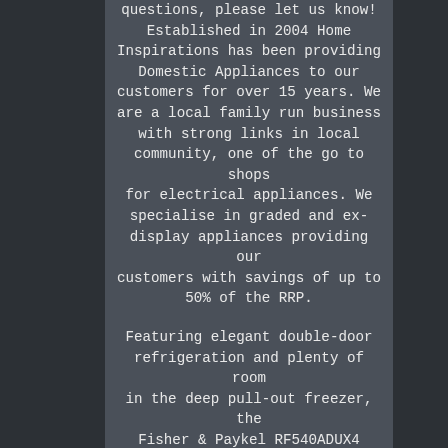questions, please let us know! Established in 2004 Home Inspirations has been providing Domestic Appliances to our customers for over 15 years. We are a local family run business with strong links in local community, one of the go to shops for electrical appliances. We specialise in graded and ex-display appliances providing our customers with savings of up to 50% of the RRP.

Featuring elegant double-door refrigeration and plenty of room in the deep pull-out freezer, the Fisher & Paykel RF540ADUX4 Goliath 3-door fridge freezer makes cold storage glamorous. The glossy stainless steel exterior offers a sleek look, and for extra convenience, has an… So you